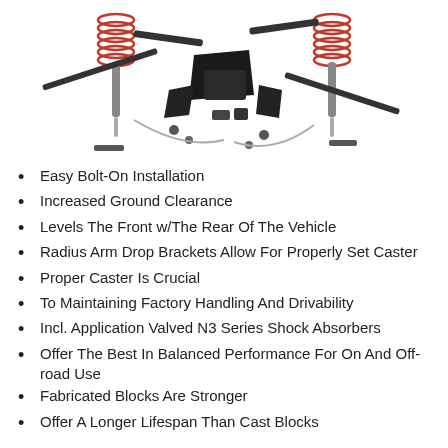[Figure (photo): Exploded view of a suspension lift kit with shocks, springs, brackets, and hardware components laid out on a white background.]
Easy Bolt-On Installation
Increased Ground Clearance
Levels The Front w/The Rear Of The Vehicle
Radius Arm Drop Brackets Allow For Properly Set Caster
Proper Caster Is Crucial
To Maintaining Factory Handling And Drivability
Incl. Application Valved N3 Series Shock Absorbers
Offer The Best In Balanced Performance For On And Off-road Use
Fabricated Blocks Are Stronger
Offer A Longer Lifespan Than Cast Blocks